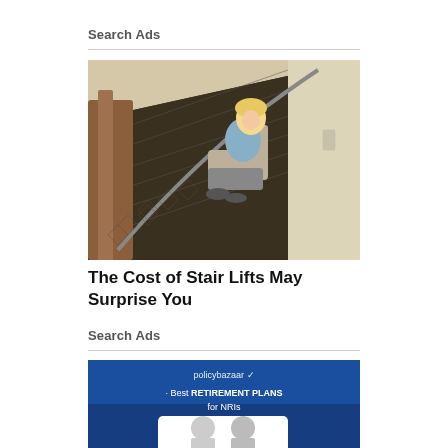Search Ads
[Figure (photo): Woman sitting on a stair lift chair on a carpeted staircase in a home, smiling at the camera. The staircase has a wooden banister and patterned dark carpet.]
The Cost of Stair Lifts May Surprise You
Search Ads
[Figure (photo): Policybazaar advertisement banner with blue background showing text 'policybazaar' logo and 'Best RETIREMENT PLANS for NRIs' with partial image of people below.]